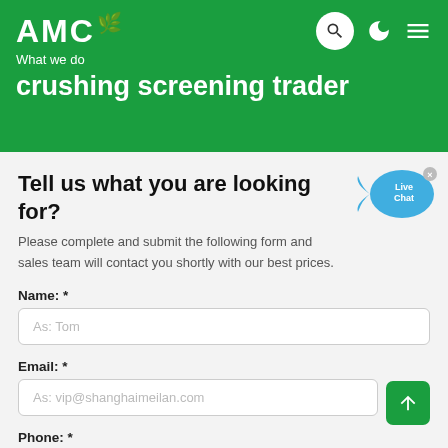AMC — What we do — crushing screening trader
Tell us what you are looking for?
Please complete and submit the following form and sales team will contact you shortly with our best prices.
Name: *
As: Tom
Email: *
As: vip@shanghaimeilan.com
Phone: *
With Country Code